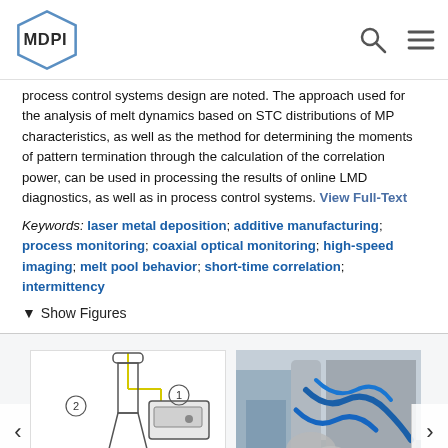MDPI logo with search and menu icons
process control systems design are noted. The approach used for the analysis of melt dynamics based on STC distributions of MP characteristics, as well as the method for determining the moments of pattern termination through the calculation of the correlation power, can be used in processing the results of online LMD diagnostics, as well as in process control systems. View Full-Text
Keywords: laser metal deposition; additive manufacturing; process monitoring; coaxial optical monitoring; high-speed imaging; melt pool behavior; short-time correlation; intermittency
▼ Show Figures
[Figure (engineering-diagram): Engineering schematic diagram of a laser metal deposition coaxial monitoring setup with numbered components (1, 2, 3, 6), showing laser beam path, optics, and camera.]
[Figure (photo): Photograph of the actual laser metal deposition experimental setup showing equipment with blue cables and hoses.]